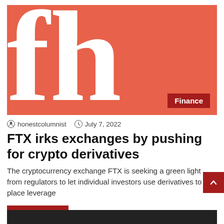[Figure (logo): Large stylized 'fh' letters in white on salmon/coral red background with a Finance badge in dark red at bottom right]
honestcolumnist  July 7, 2022
FTX irks exchanges by pushing for crypto derivatives
The cryptocurrency exchange FTX is seeking a green light from regulators to let individual investors use derivatives to place leverage